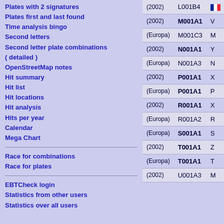Plates with 2 signatures
Plates first and last found
Time analysis bingo
Second letters
Second letter plate combinations ( detailed )
OpenStreetMap notes
Hit summary
Hit list
Hit locations
Hit analysis
Hits per year
Calendar
Mega Chart
Race for combinations
Race for plates
EBTCheck login
Statistics from other users
Statistics over all users
| Year | Plate |  |
| --- | --- | --- |
| (2002) | L001B4 | 🇫🇷 |
| (2002) | M001A1 | V |
| (Europa) | M001C3 | M |
| (2002) | N001A1 | Y |
| (Europa) | N001A3 | N |
| (2002) | P001A1 | X |
| (Europa) | P001A1 | P |
| (2002) | R001A1 | X |
| (Europa) | R001A2 | R |
| (Europa) | S001A1 | S |
| (2002) | T001A1 | Z |
| (Europa) | T001A1 | T |
| (2002) | U001A3 | M |